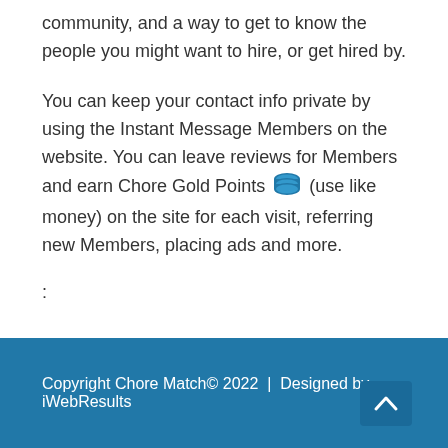community, and a way to get to know the people you might want to hire, or get hired by.
You can keep your contact info private by using the Instant Message Members on the website. You can leave reviews for Members and earn Chore Gold Points (use like money) on the site for each visit, referring new Members, placing ads and more.
:
Copyright Chore Match© 2022  |  Designed by iWebResults